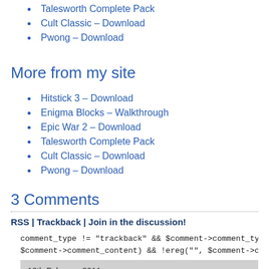Talesworth Complete Pack
Cult Classic – Download
Pwong – Download
More from my site
Hitstick 3 – Download
Enigma Blocks – Walkthrough
Epic War 2 – Download
Talesworth Complete Pack
Cult Classic – Download
Pwong – Download
3 Comments
RSS | Trackback | Join in the discussion!
comment_type != "trackback" && $comment->comment_type != "pi
$comment->comment_content) && !ereg("", $comment->comment_
10th February 2011
12:40 pm
Download Collapse It – Flash Games